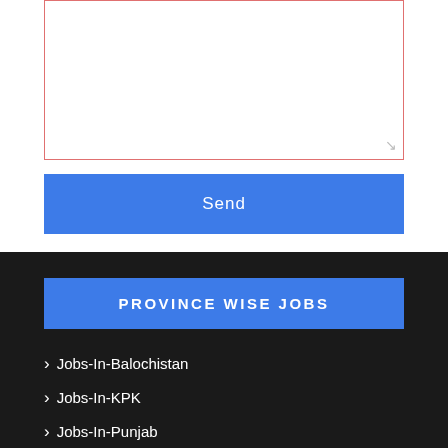[Textarea input field]
Send
PROVINCE WISE JOBS
Jobs-In-Balochistan
Jobs-In-KPK
Jobs-In-Punjab
Jobs-In-Sindh
POPULAR POSTS
Ministry of Information and Broadcasting Jobs 2022 - www.moib.gov.pk